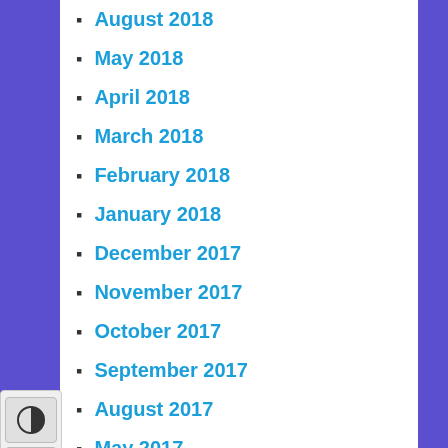August 2018
May 2018
April 2018
March 2018
February 2018
January 2018
December 2017
November 2017
October 2017
September 2017
August 2017
May 2017
April 2017
March 2017
February 2017
January 2017
December 2016
November 2016
October 2016
September 2016
August 2016
May 2016